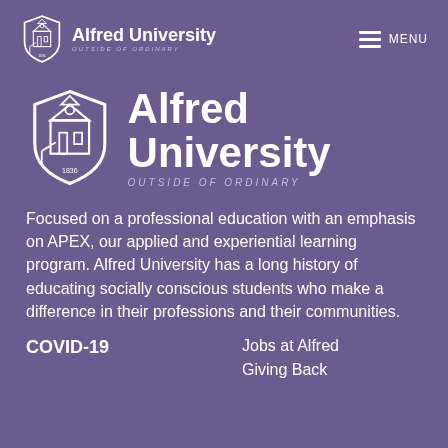Alfred University Outside of Ordinary — MENU
[Figure (logo): Alfred University shield logo with tower and 1836 date, large centered version with text 'Alfred University' and tagline 'OUTSIDE of ORDINARY']
Focused on a professional education with an emphasis on APEX, our applied and experiential learning program. Alfred University has a long history of educating socially conscious students who make a difference in their professions and their communities.
COVID-19
Jobs at Alfred
Giving Back